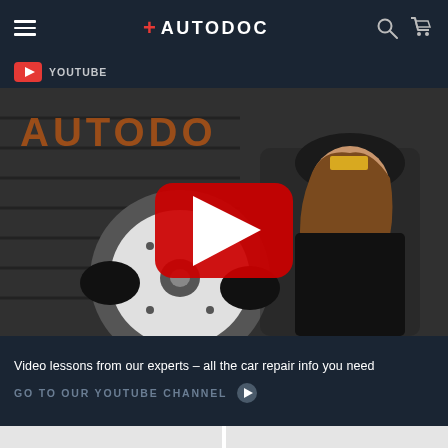AUTODOC
[Figure (screenshot): YouTube link label with red YouTube icon and text 'Youtube']
[Figure (photo): Video thumbnail showing a female mechanic in Autodoc branded cap and overalls holding a brake disc rotor, with a large red YouTube play button overlay in the center. Autodoc branding visible on garage door in background.]
Video lessons from our experts – all the car repair info you need
GO TO OUR YOUTUBE CHANNEL
[Figure (other): Bottom section with light grey panel split into two equal columns with a white vertical divider]